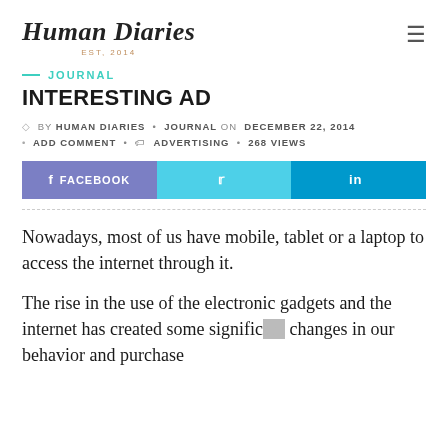Human Diaries EST, 2014
JOURNAL
INTERESTING AD
by HUMAN DIARIES • JOURNAL on DECEMBER 22, 2014 • ADD COMMENT • ADVERTISING • 268 VIEWS
FACEBOOK | (twitter icon) | in
Nowadays, most of us have mobile, tablet or a laptop to access the internet through it.
The rise in the use of the electronic gadgets and the internet has created some significant changes in our behavior and purchase